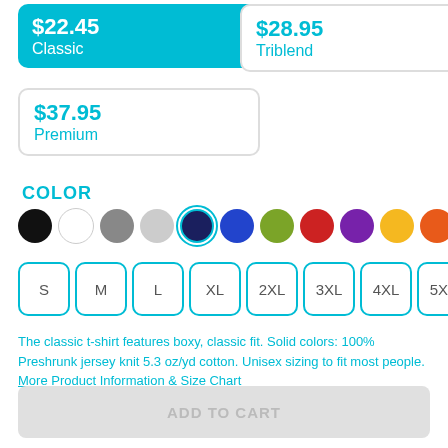$22.45
Classic
$28.95
Triblend
$37.95
Premium
COLOR
[Figure (other): Color swatch circles: black, white, gray, light-gray, navy (selected with teal ring), blue, olive-green, red, purple, yellow, orange]
[Figure (other): Size selector buttons: S, M, L, XL, 2XL, 3XL, 4XL, 5XL]
The classic t-shirt features boxy, classic fit. Solid colors: 100% Preshrunk jersey knit 5.3 oz/yd cotton. Unisex sizing to fit most people.
More Product Information & Size Chart
ADD TO CART